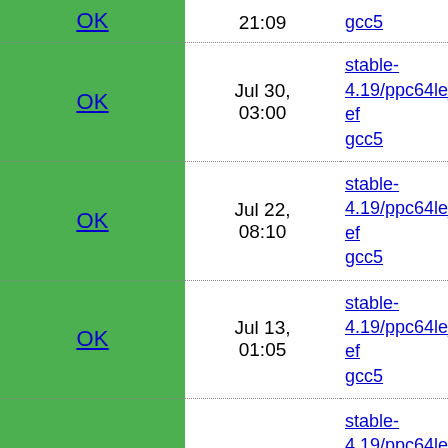| Status | Date | Branch |
| --- | --- | --- |
| OK | Jul 30, 03:00 | stable-4.19/ppc64le_def gcc5 |
| OK | Jul 22, 08:10 | stable-4.19/ppc64le_def gcc5 |
| OK | Jul 13, 01:05 | stable-4.19/ppc64le_def gcc5 |
| OK | Jul 8, 02:25 | stable-4.19/ppc64le_def gcc5 |
| OK | Jul 3, 01:07 | stable-4.19/ppc64le_def gcc5 |
| OK | Jun 25, 20:24 | stable-4.19/ppc64le_def gcc5 |